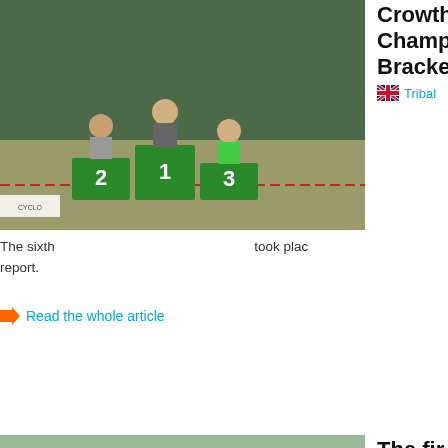[Figure (photo): Podium photo with three cyclists standing on numbered platforms (2, 1, 3) outdoors with trees in background]
Crowther Champ... Bracke...
Tribal
The sixth... took place... report.
Read the whole article
[Figure (photo): Group of young cyclists standing in front of a green metal building/container, some holding trophies]
The fir... Champ...
Tribal
The first c... 2011. It w... Scotland...
Read the whole article
[Figure (photo): Cyclist performing a trick on large rocks outdoors, bike lifted in air, another person visible in background]
The Br...
Tribal
The final... at Shipley...